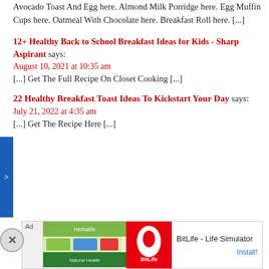Avocado Toast And Egg here. Almond Milk Porridge here. Egg Muffin Cups here. Oatmeal With Chocolate here. Breakfast Roll here. [...]
12+ Healthy Back to School Breakfast Ideas for Kids - Sharp Aspirant says: August 10, 2021 at 10:35 am [...] Get The Full Recipe On Closet Cooking [...]
22 Healthy Breakfast Toast Ideas To Kickstart Your Day says: July 21, 2022 at 4:35 am [...] Get The Recipe Here [...]
Leave a Reply
[Figure (screenshot): Advertisement banner for BitLife - Life Simulator app with green background images and red BitLife icon, showing Install! button]